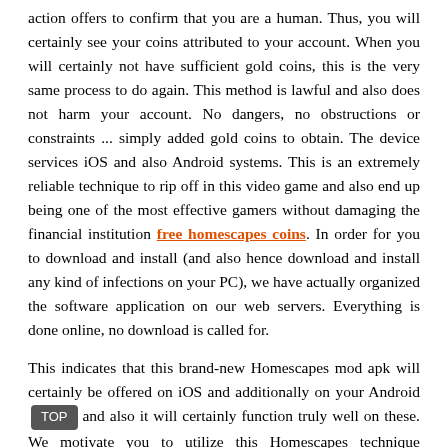action offers to confirm that you are a human. Thus, you will certainly see your coins attributed to your account. When you will certainly not have sufficient gold coins, this is the very same process to do again. This method is lawful and also does not harm your account. No dangers, no obstructions or constraints ... simply added gold coins to obtain. The device services iOS and also Android systems. This is an extremely reliable technique to rip off in this video game and also end up being one of the most effective gamers without damaging the financial institution free homescapes coins. In order for you to download and install (and also hence download and install any kind of infections on your PC), we have actually organized the software application on our web servers. Everything is done online, no download is called for.
This indicates that this brand-new Homescapes mod apk will certainly be offered on iOS and additionally on your Android and also it will certainly function truly well on these. We motivate you to utilize this Homescapes technique completely free due to the fact that it will certainly be feasible and if you do so, you will